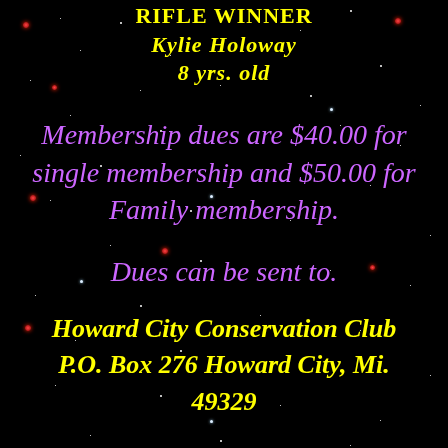RIFLE WINNER
Kylie Holoway
8 yrs. old
Membership dues are $40.00 for single membership and $50.00 for Family membership.
Dues can be sent to.
Howard City Conservation Club P.O. Box 276 Howard City, Mi. 49329